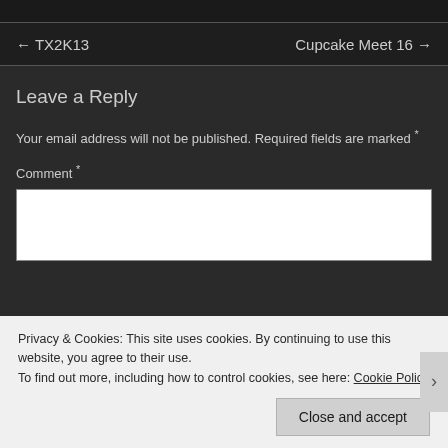← TX2K13    Cupcake Meet 16 →
Leave a Reply
Your email address will not be published. Required fields are marked *
Comment *
Privacy & Cookies: This site uses cookies. By continuing to use this website, you agree to their use.
To find out more, including how to control cookies, see here: Cookie Policy
Close and accept